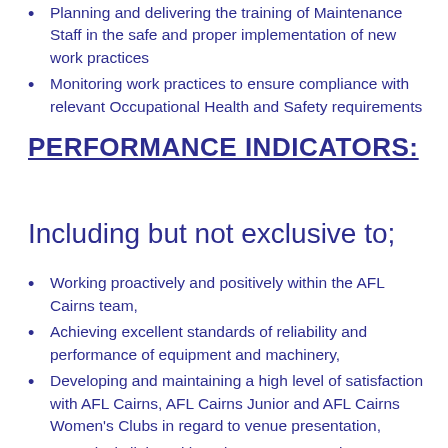Planning and delivering the training of Maintenance Staff in the safe and proper implementation of new work practices
Monitoring work practices to ensure compliance with relevant Occupational Health and Safety requirements
PERFORMANCE INDICATORS:
Including but not exclusive to;
Working proactively and positively within the AFL Cairns team,
Achieving excellent standards of reliability and performance of equipment and machinery,
Developing and maintaining a high level of satisfaction with AFL Cairns, AFL Cairns Junior and AFL Cairns Women's Clubs in regard to venue presentation,
Proactively liaise with and engage AFL Cairns, AFL Cairns Junior and AFL Cairns Women's Clubs in supporting